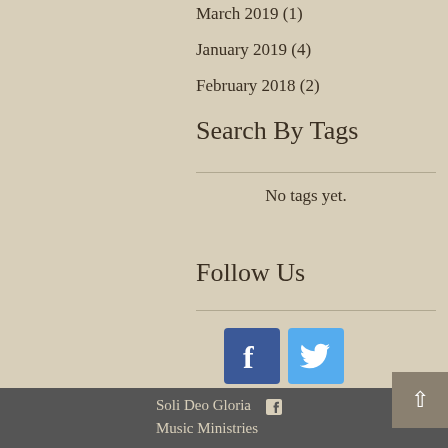March 2019 (1)
January 2019 (4)
February 2018 (2)
Search By Tags
No tags yet.
Follow Us
[Figure (logo): Facebook icon (blue square with white F)]
[Figure (logo): Twitter icon (light blue square with white bird)]
Soli Deo Gloria  f
Music Ministries